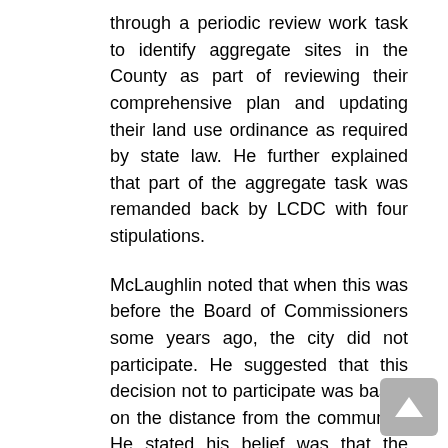through a periodic review work task to identify aggregate sites in the County as part of reviewing their comprehensive plan and updating their land use ordinance as required by state law. He further explained that part of the aggregate task was remanded back by LCDC with four stipulations.
McLaughlin noted that when this was before the Board of Commissioners some years ago, the city did not participate. He suggested that this decision not to participate was based on the distance from the community. He stated his belief was that the public record has closed and no further comment was to be considered by the Commissioners prior to a decision in early July.
Shaw stated that this item is outside of the council's purview, and while she is not a supporter of quarries,